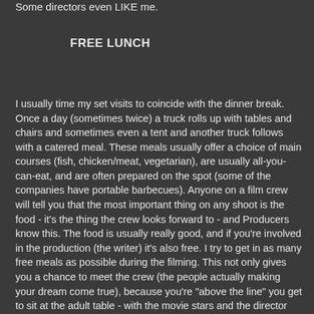Some directors even LIKE me.
FREE LUNCH
I usually time my set visits to coincide with the dinner break. Once a day (sometimes twice) a truck rolls up with tables and chairs and sometimes even a tent and another truck follows with a catered meal. These meals usually offer a choice of main courses (fish, chicken/meat, vegetarian), are usually all-you-can-eat, and are often prepared on the spot (some of the companies have portable barbecues). Anyone on a film crew will tell you that the most important thing on any shoot is the food - it's the thing the crew looks forward to - and Producers know this. The food is usually really good, and if you're involved in the production (the writer) it's also free. I try to get in as many free meals as possible during the filming. This not only gives you a chance to meet the crew (the people actually making your dream come true), because you're "above the line" you get to sit at the adult table - with the movie stars and the director and the producer. This helps